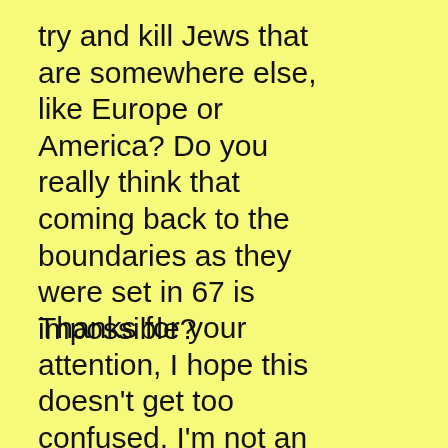try and kill Jews that are somewhere else, like Europe or America? Do you really think that coming back to the boundaries as they were set in 67 is impossible?
Thanks for your attention, I hope this doesn't get too confused. I'm not an